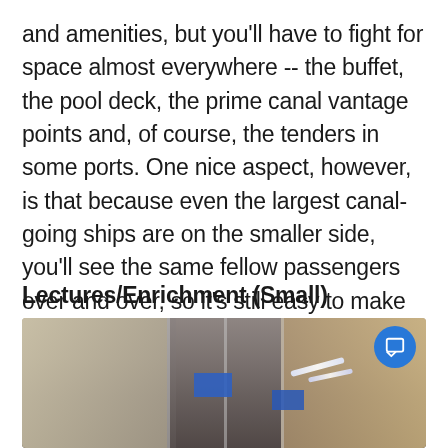and amenities, but you'll have to fight for space almost everywhere -- the buffet, the pool deck, the prime canal vantage points and, of course, the tenders in some ports. One nice aspect, however, is that because even the largest canal-going ships are on the smaller side, you'll see the same fellow passengers over and over, so it's still easy to make friends.
Lectures/Enrichment (Small)
[Figure (photo): Interior of a cruise ship venue/lounge area with reflective surfaces, columns, screens displaying content, overhead lighting strips, and passengers visible in the background. A blue circular chat icon button is visible in the top right corner.]